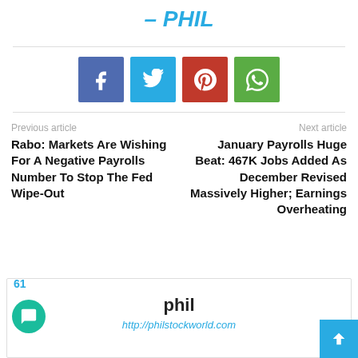– PHIL
[Figure (other): Social sharing buttons: Facebook, Twitter, Pinterest, WhatsApp]
Previous article
Next article
Rabo: Markets Are Wishing For A Negative Payrolls Number To Stop The Fed Wipe-Out
January Payrolls Huge Beat: 467K Jobs Added As December Revised Massively Higher; Earnings Overheating
61
phil
http://philstockworld.com